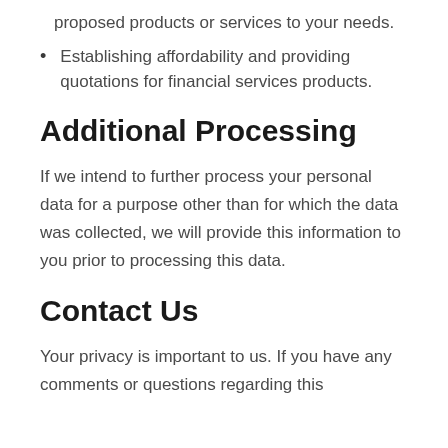proposed products or services to your needs.
Establishing affordability and providing quotations for financial services products.
Additional Processing
If we intend to further process your personal data for a purpose other than for which the data was collected, we will provide this information to you prior to processing this data.
Contact Us
Your privacy is important to us. If you have any comments or questions regarding this